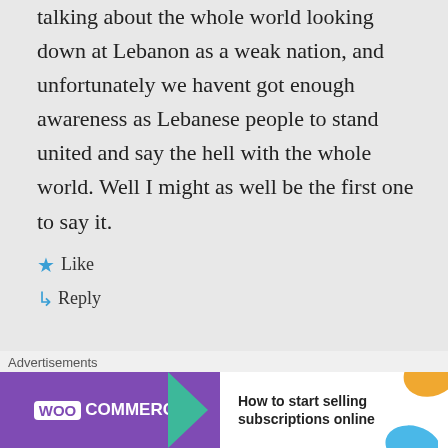talking about the whole world looking down at Lebanon as a weak nation, and unfortunately we havent got enough awareness as Lebanese people to stand united and say the hell with the whole world. Well I might as well be the first one to say it.
★ Like
↳ Reply
eliefares on July 28, 2012 at
Advertisements
[Figure (screenshot): WooCommerce advertisement banner: 'How to start selling subscriptions online']